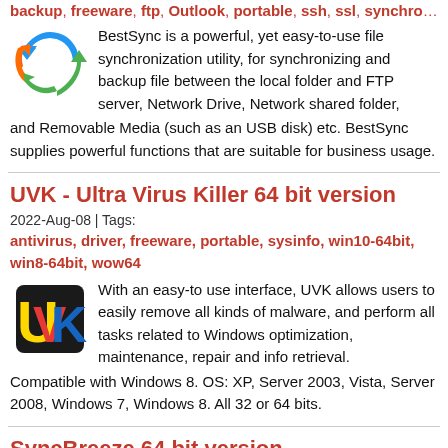backup, freeware, ftp, Outlook, portable, ssh, ssl, synchronization, z...
BestSync is a powerful, yet easy-to-use file synchronization utility, for synchronizing and backup file between the local folder and FTP server, Network Drive, Network shared folder, and Removable Media (such as an USB disk) etc. BestSync supplies powerful functions that are suitable for business usage.
UVK - Ultra Virus Killer 64 bit version
2022-Aug-08 | Tags:
antivirus, driver, freeware, portable, sysinfo, win10-64bit, win8-64bit, wow64
With an easy-to use interface, UVK allows users to easily remove all kinds of malware, and perform all tasks related to Windows optimization, maintenance, repair and info retrieval. Compatible with Windows 8. OS: XP, Server 2003, Vista, Server 2008, Windows 7, Windows 8. All 32 or 64 bits.
SyncBreeze 64 bit version